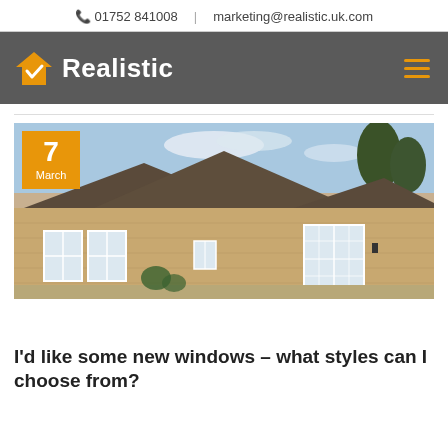01752 841008 | marketing@realistic.uk.com
[Figure (logo): Realistic logo with orange house/checkmark icon and white bold text on dark grey background, with orange hamburger menu icon on right]
[Figure (photo): Photograph of a stone cottage house with white-framed windows and french doors, dated 7 March]
I'd like some new windows – what styles can I choose from?